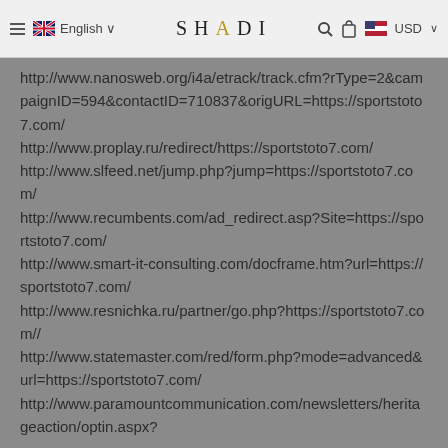English | SHADI | USD
http://www.nanosweb.org/i4a/etrack/track.cfm?rType=2&campaignID=594&contactID=710837&origURL=https://sportstoto7.com/
http://www.proplay.ru/redirect/https://sportstoto7.com/
http://www.slfeed.net/jump.php?jump=https://sportstoto7.com/
http://www.recumbents.com/ad_redirect.asp?Site=https://sportstoto7.com/
http://www.smart-it-consulting.com/docframe.htm?url=https://sportstoto7.com/
http://www.resnichka.ru/partner/go.php?https://sportstoto7.com//
http://www.statemaster.com/red/form.php?mode=advanced&url=https://sportstoto7.com/
http://www.paramountcommunication.com/newsletters/heritageaction/optin.aspx?